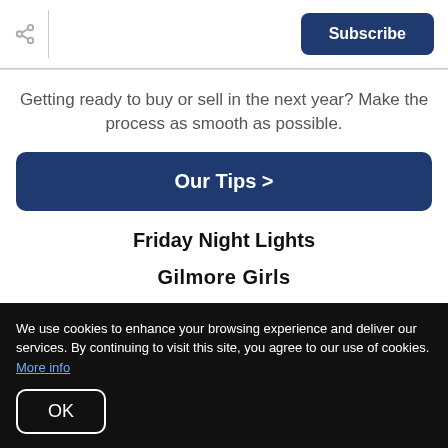Subscribe
Getting ready to buy or sell in the next year? Make the process as smooth as possible.
Our Tips >
Friday Night Lights
Gilmore Girls
We use cookies to enhance your browsing experience and deliver our services. By continuing to visit this site, you agree to our use of cookies. More info
OK